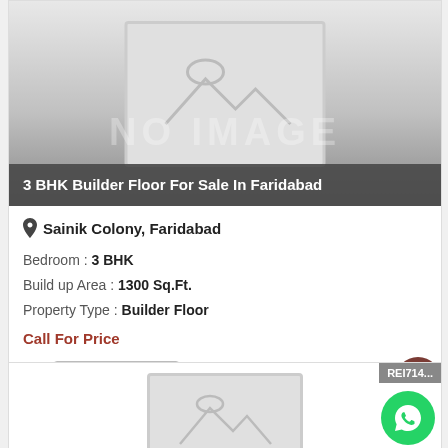[Figure (photo): No image placeholder with mountains/landscape icon and 'NO IMAGE' text overlay]
3 BHK Builder Floor For Sale In Faridabad
Sainik Colony, Faridabad
Bedroom : 3 BHK
Build up Area : 1300 Sq.Ft.
Property Type : Builder Floor
Call For Price
[Figure (photo): Second property listing card partial, showing REI714 badge and no-image placeholder]